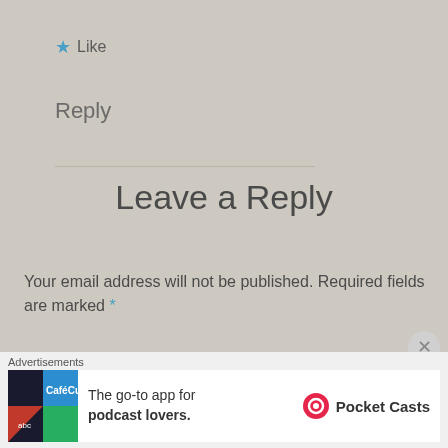★ Like
Reply
Leave a Reply
Your email address will not be published. Required fields are marked *
Commen
Advertisements
[Figure (infographic): Pocket Casts advertisement banner: 'The go-to app for podcast lovers.' with Pocket Casts logo]